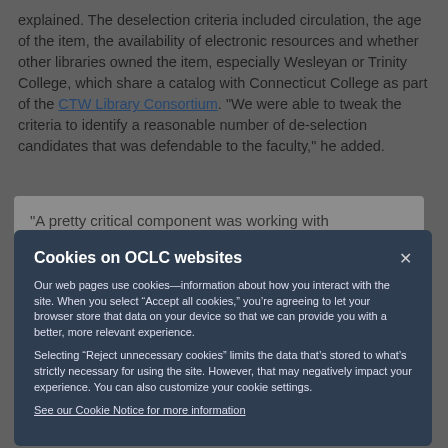explained. The deselection criteria included circulation, the age of the item, the availability of electronic resources and whether other libraries owned the item, especially Wesleyan or Trinity College, which share a catalog with Connecticut College as part of the CTW Library Consortium. "We were able to tweak the criteria to identify a reasonable number of de-selection candidates that was defendable to the faculty," he added.
"A pretty critical component was working with
Cookies on OCLC websites

Our web pages use cookies—information about how you interact with the site. When you select “Accept all cookies,” you’re agreeing to let your browser store that data on your device so that we can provide you with a better, more relevant experience.

Selecting “Reject unnecessary cookies” limits the data that’s stored to what’s strictly necessary for using the site. However, that may negatively impact your experience. You can also customize your cookie settings.

See our Cookie Notice for more information